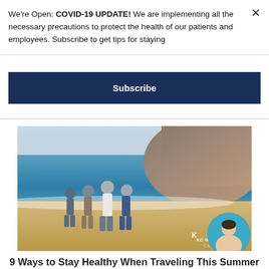We're Open: COVID-19 UPDATE! We are implementing all the necessary precautions to protect the health of our patients and employees. Subscribe to get tips for staying
Subscribe
[Figure (photo): Group of people walking together on a beach with rocky cliffs and ocean in the background. KC Wellness logo watermark visible.]
9 Ways to Stay Healthy When Traveling This Summer
by John Britton | Jul 30, 2022 | Health